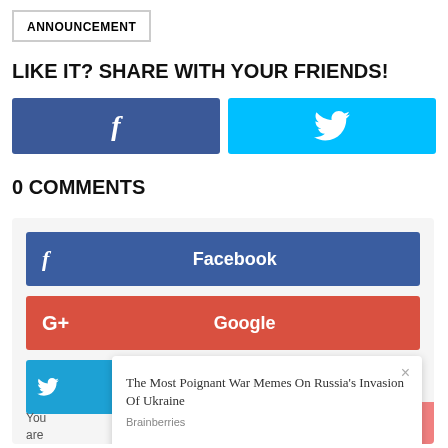ANNOUNCEMENT
LIKE IT? SHARE WITH YOUR FRIENDS!
[Figure (other): Facebook share button (dark blue with f icon) and Twitter share button (light blue with bird icon)]
0 COMMENTS
[Figure (other): Social login comment section with Facebook (blue), Google (red), Twitter (light blue) buttons, and a PurpleAds popup overlay showing 'The Most Poignant War Memes On Russia's Invasion Of Ukraine' by Brainberries]